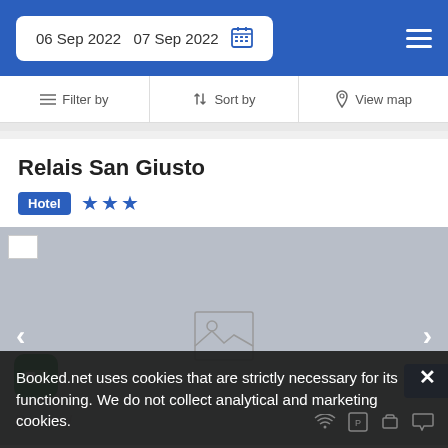06 Sep 2022   07 Sep 2022
Filter by   Sort by   View map
Relais San Giusto
Hotel ★★★
[Figure (photo): Hotel image placeholder with navigation arrows (left and right)]
Booked.net uses cookies that are strictly necessary for its functioning. We do not collect analytical and marketing cookies.